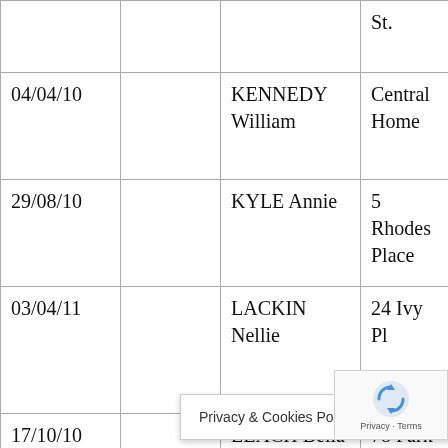|  |  |  | St. |
| 04/04/10 |  | KENNEDY William | Central Home |
| 29/08/10 |  | KYLE Annie | 5 Rhodes Place |
| 03/04/11 |  | LACKIN Nellie | 24 Ivy Pl |
| 17/10/10 |  | LEACH Bella | 78 Park Lane |
| 22/08/10 | 22/08/10 | LEACH Isabella | St. |